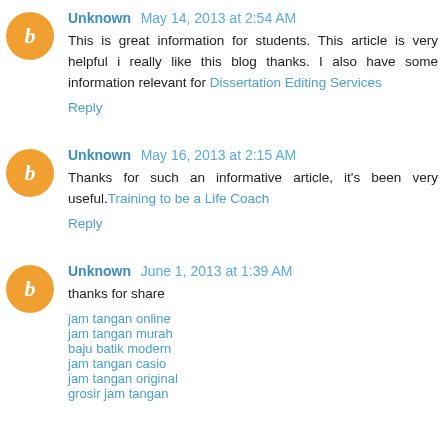Unknown May 14, 2013 at 2:54 AM
This is great information for students. This article is very helpful i really like this blog thanks. I also have some information relevant for Dissertation Editing Services
Reply
Unknown May 16, 2013 at 2:15 AM
Thanks for such an informative article, it's been very useful.Training to be a Life Coach
Reply
Unknown June 1, 2013 at 1:39 AM
thanks for share
jam tangan online
jam tangan murah
baju batik modern
jam tangan casio
jam tangan original
grosir jam tangan